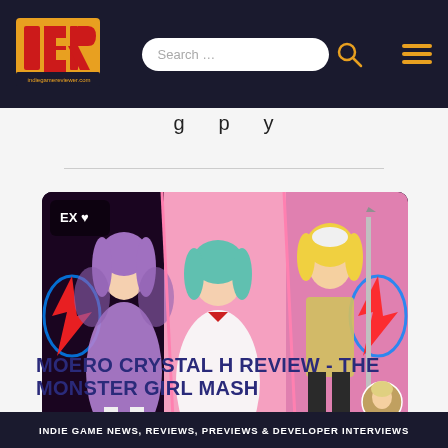indiegamereviewer.com — Search bar and navigation
gameplay
[Figure (screenshot): Moero Crystal H gameplay screenshot showing three anime monster girl characters in battle scene with UI elements]
MOERO CRYSTAL H REVIEW - THE MONSTER GIRL MASH
INDIE GAME NEWS, REVIEWS, PREVIEWS & DEVELOPER INTERVIEWS